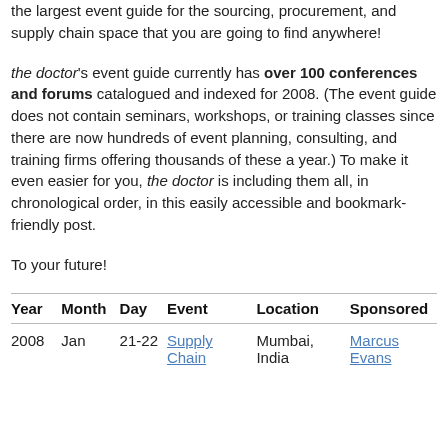the largest event guide for the sourcing, procurement, and supply chain space that you are going to find anywhere!
the doctor's event guide currently has over 100 conferences and forums catalogued and indexed for 2008. (The event guide does not contain seminars, workshops, or training classes since there are now hundreds of event planning, consulting, and training firms offering thousands of these a year.) To make it even easier for you, the doctor is including them all, in chronological order, in this easily accessible and bookmark-friendly post.
To your future!
| Year | Month | Day | Event | Location | Sponsored |
| --- | --- | --- | --- | --- | --- |
| 2008 | Jan | 21-22 | Supply Chain | Mumbai, India | Marcus Evans |